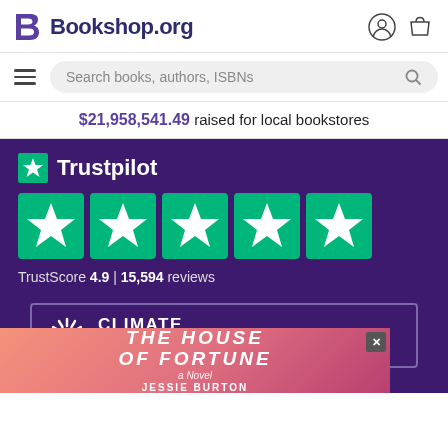Bookshop.org
Search books, authors, ISBNs
$21,958,541.49 raised for local bookstores
[Figure (screenshot): Trustpilot rating widget showing 5 green star icons, TrustScore 4.9 | 15,594 reviews on dark purple background]
[Figure (screenshot): Climate Neutral certified logo on dark purple background]
[Figure (illustration): Book advertisement for The House of Fortune, a Novel by Jessie Burton, with coral/pink gradient background and silhouetted figures]